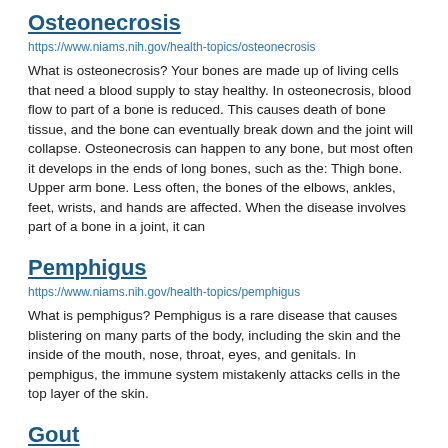Osteonecrosis
https://www.niams.nih.gov/health-topics/osteonecrosis
What is osteonecrosis? Your bones are made up of living cells that need a blood supply to stay healthy. In osteonecrosis, blood flow to part of a bone is reduced. This causes death of bone tissue, and the bone can eventually break down and the joint will collapse. Osteonecrosis can happen to any bone, but most often it develops in the ends of long bones, such as the: Thigh bone. Upper arm bone. Less often, the bones of the elbows, ankles, feet, wrists, and hands are affected. When the disease involves part of a bone in a joint, it can
Pemphigus
https://www.niams.nih.gov/health-topics/pemphigus
What is pemphigus? Pemphigus is a rare disease that causes blistering on many parts of the body, including the skin and the inside of the mouth, nose, throat, eyes, and genitals. In pemphigus, the immune system mistakenly attacks cells in the top layer of the skin.
Gout
https://www.niams.nih.gov/health-topics/gout